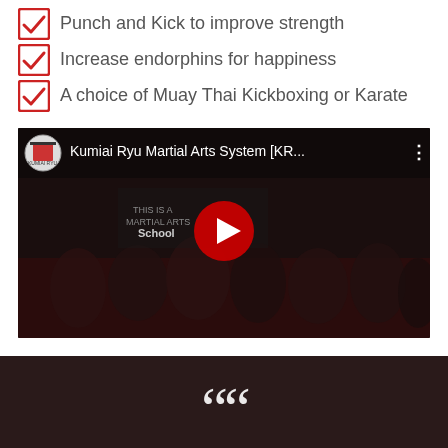Punch and Kick to improve strength
Increase endorphins for happiness
A choice of Muay Thai Kickboxing or Karate
[Figure (screenshot): YouTube video thumbnail showing Kumiai Ryu Martial Arts System [KR...] with a group of martial arts students celebrating, with a red play button in the center]
[Figure (other): Dark brownish-red section at bottom with large white opening quotation marks]